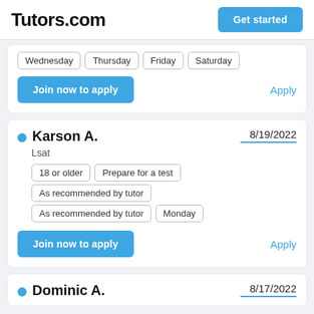Tutors.com | Get started
Wednesday  Thursday  Friday  Saturday
Join now to apply   Apply
Karson A.
8/19/2022
Lsat
18 or older
Prepare for a test
As recommended by tutor
As recommended by tutor
Monday
Join now to apply   Apply
Dominic A.
8/17/2022